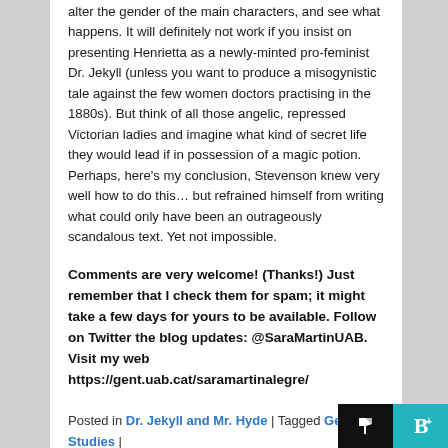alter the gender of the main characters, and see what happens. It will definitely not work if you insist on presenting Henrietta as a newly-minted pro-feminist Dr. Jekyll (unless you want to produce a misogynistic tale against the few women doctors practising in the 1880s). But think of all those angelic, repressed Victorian ladies and imagine what kind of secret life they would lead if in possession of a magic potion. Perhaps, here's my conclusion, Stevenson knew very well how to do this… but refrained himself from writing what could only have been an outrageously scandalous text. Yet not impossible.
Comments are very welcome! (Thanks!) Just remember that I check them for spam; it might take a few days for yours to be available. Follow on Twitter the blog updates: @SaraMartinUAB. Visit my web https://gent.uab.cat/saramartinalegre/
Posted in Dr. Jekyll and Mr. Hyde | Tagged Gender Studies | 2 Replies